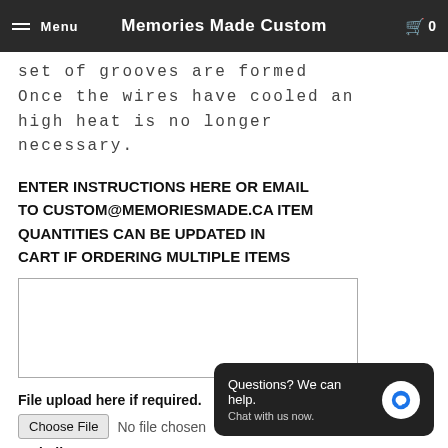Menu | Memories Made Custom | 0
set of grooves are formed Once the wires have cooled an high heat is no longer necessary.
ENTER INSTRUCTIONS HERE OR EMAIL TO CUSTOM@MEMORIESMADE.CA ITEM QUANTITIES CAN BE UPDATED IN CART IF ORDERING MULTIPLE ITEMS
[Figure (screenshot): Text input textarea, empty, with resize handle]
File upload here if required.
[Figure (screenshot): File input: Choose File button and 'No file chosen' text]
2nd File
[Figure (screenshot): Second file input: Choose File button and 'No file chosen' text]
[Figure (screenshot): Chat popup: 'Questions? We can help. Chat with us now.' with blue bubble icon]